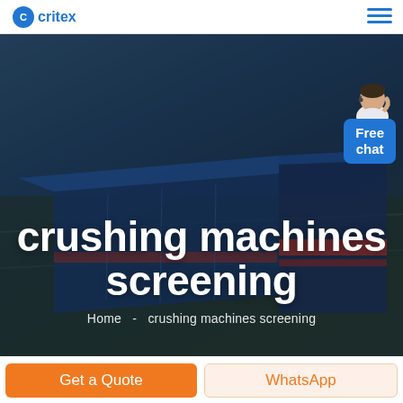critex (logo)
[Figure (screenshot): Aerial view of an industrial facility with large blue-roofed warehouse buildings and a red-accented building, overlaid with dark blue tint. A customer service avatar stands at top right with a 'Free chat' button.]
crushing machines screening
Home  -  crushing machines screening
Get a Quote
WhatsApp